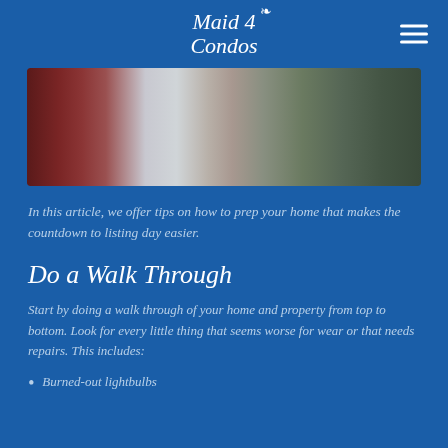Maid 4 Condos
[Figure (photo): Hero image showing a person in a striped shirt near outdoor steps with desert plants]
In this article, we offer tips on how to prep your home that makes the countdown to listing day easier.
Do a Walk Through
Start by doing a walk through of your home and property from top to bottom. Look for every little thing that seems worse for wear or that needs repairs. This includes:
Burned-out lightbulbs